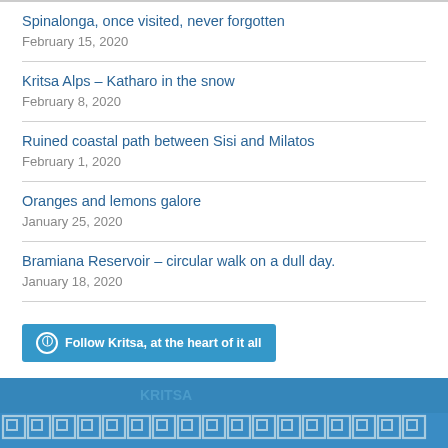Spinalonga, once visited, never forgotten
February 15, 2020
Kritsa Alps – Katharo in the snow
February 8, 2020
Ruined coastal path between Sisi and Milatos
February 1, 2020
Oranges and lemons galore
January 25, 2020
Bramiana Reservoir – circular walk on a dull day.
January 18, 2020
Follow Kritsa, at the heart of it all
[Figure (illustration): Bottom banner with blue background and Greek key/meander pattern border in lighter blue, partially visible silhouette imagery in background]